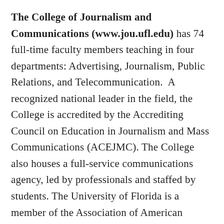The College of Journalism and Communications (www.jou.ufl.edu) has 74 full-time faculty members teaching in four departments: Advertising, Journalism, Public Relations, and Telecommunication.  A recognized national leader in the field, the College is accredited by the Accrediting Council on Education in Journalism and Mass Communications (ACEJMC). The College also houses a full-service communications agency, led by professionals and staffed by students. The University of Florida is a member of the Association of American Universities and is categorized in the Carnegie Commission's top tier of research universities. UF's more than 52,000 students come from all 50 states and more than 100 countries.